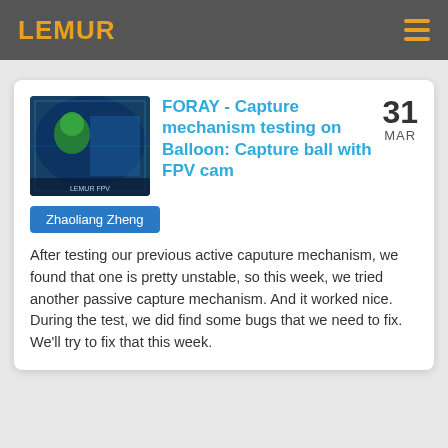LEMUR
FORAY - Capture mechanism testing on Balloon: Capture ball with FPV cam
31 MAR
Zhaoliang Zheng
After testing our previous active caputure mechanism, we found that one is pretty unstable, so this week, we tried another passive capture mechanism. And it worked nice. During the test, we did find some bugs that we need to fix. We'll try to fix that this week.